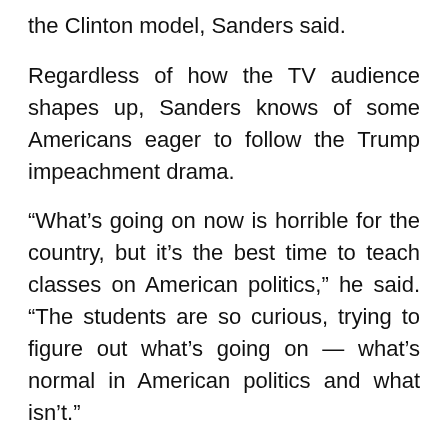the Clinton model, Sanders said.
Regardless of how the TV audience shapes up, Sanders knows of some Americans eager to follow the Trump impeachment drama.
“What’s going on now is horrible for the country, but it’s the best time to teach classes on American politics,” he said. “The students are so curious, trying to figure out what’s going on — what’s normal in American politics and what isn’t.”
As for PBS, it’s not planning a repeat of prime-time impeachment replays but says the daytime telecasts will be available on-demand via all of PBS’ digital platforms.
—